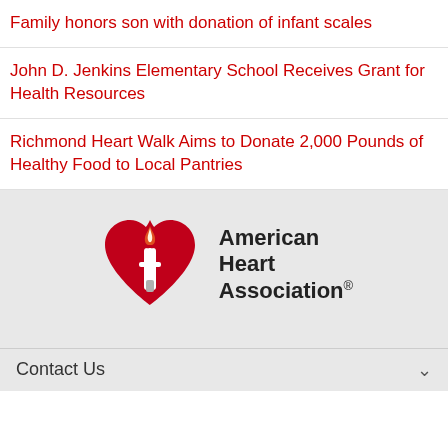Family honors son with donation of infant scales
John D. Jenkins Elementary School Receives Grant for Health Resources
Richmond Heart Walk Aims to Donate 2,000 Pounds of Healthy Food to Local Pantries
[Figure (logo): American Heart Association logo — red heart with torch and flame, with text 'American Heart Association®']
Contact Us